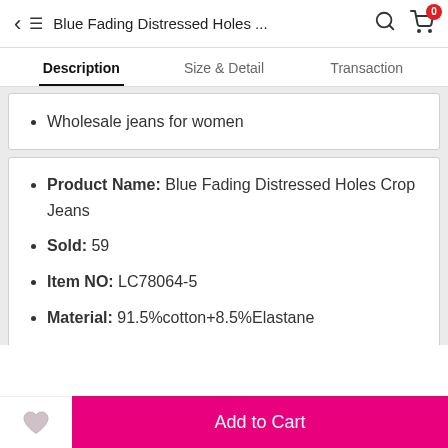Blue Fading Distressed Holes ...
Description | Size & Detail | Transaction
Wholesale jeans for women
Product Name: Blue Fading Distressed Holes Crop Jeans
Sold: 59
Item NO: LC78064-5
Material: 91.5%cotton+8.5%Elastane
Pattern: patchwork